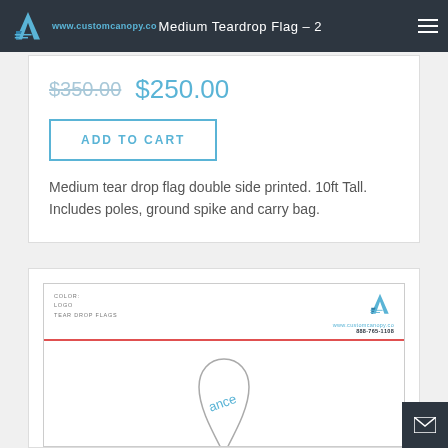www.customcanopy.co   Medium Teardrop Flag - 2
$350.00  $250.00
ADD TO CART
Medium tear drop flag double side printed. 10ft Tall. Includes poles, ground spike and carry bag.
[Figure (other): Product order form template with logo, color/logo/tear drop flags fields, www.customcanopy.co URL, phone 888-765-1108, and partial teardrop flag illustration at bottom]